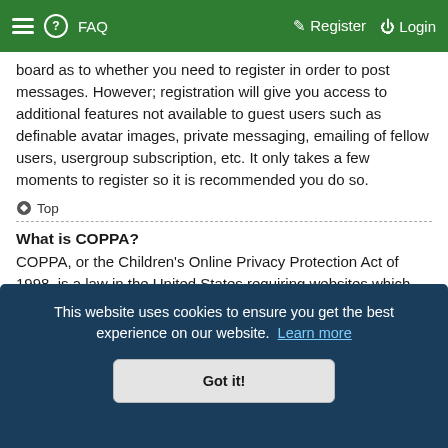FAQ  Register  Login
board as to whether you need to register in order to post messages. However; registration will give you access to additional features not available to guest users such as definable avatar images, private messaging, emailing of fellow users, usergroup subscription, etc. It only takes a few moments to register so it is recommended you do so.
Top
What is COPPA?
COPPA, or the Children's Online Privacy Protection Act of 1998, is a law in the United States requiring websites which
This website uses cookies to ensure you get the best experience on our website. Learn more
Got it!
note that phpBB Limited and the owners of this board cannot